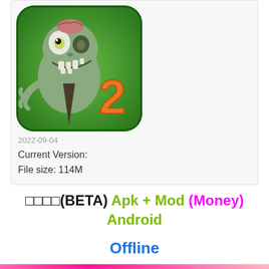[Figure (screenshot): Plants vs Zombies 2 app icon - zombie character on green background with orange number 2]
2022-09-04
Current Version:
File size: 114M
□□□□(BETA) Apk + Mod (Money) Android
Offline